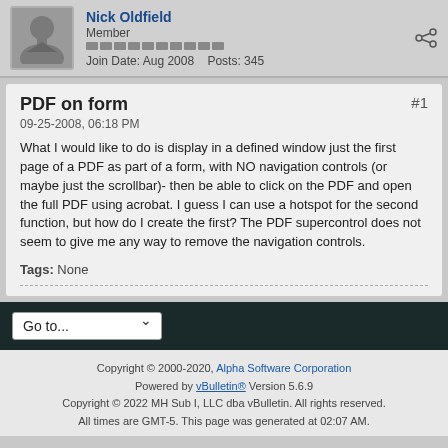[Figure (photo): Generic user avatar silhouette icon in grey]
Nick Oldfield
Member
Join Date: Aug 2008   Posts: 345
PDF on form
09-25-2008, 06:18 PM
What I would like to do is display in a defined window just the first page of a PDF as part of a form, with NO navigation controls (or maybe just the scrollbar)- then be able to click on the PDF and open the full PDF using acrobat. I guess I can use a hotspot for the second function, but how do I create the first? The PDF supercontrol does not seem to give me any way to remove the navigation controls.
Tags: None
Go to...
Copyright © 2000-2020, Alpha Software Corporation
Powered by vBulletin® Version 5.6.9
Copyright © 2022 MH Sub I, LLC dba vBulletin. All rights reserved.
All times are GMT-5. This page was generated at 02:07 AM.